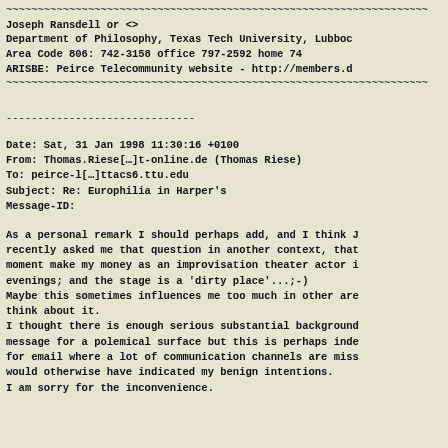~~~~~~~~~~~~~~~~~~~~~~~~~~~~~~~~~~~~~~~~~~~~~~~~~~~~~~~~~~~~~~~~~~~
Joseph Ransdell          or  <>
Department of Philosophy, Texas Tech University, Lubboc
Area Code  806:  742-3158 office     797-2592 home     74
ARISBE: Peirce Telecommunity website - http://members.d
~~~~~~~~~~~~~~~~~~~~~~~~~~~~~~~~~~~~~~~~~~~~~~~~~~~~~~~~~~~~~~~~~~~
------------------------------
Date: Sat, 31 Jan 1998 11:30:16 +0100
From: Thomas.Riese[…]t-online.de (Thomas Riese)
To: peirce-l[…]ttacs6.ttu.edu
Subject: Re: Europhilia in Harper's
Message-ID:
As a personal remark I should perhaps add, and I think J
recently asked me that question in another context, that
moment make my money as an improvisation theater actor i
evenings; and the stage is a 'dirty place'...;-)
Maybe this sometimes influences me too much in other are
think about it.
I thought there is enough serious substantial background
message for a polemical surface but this is perhaps inde
for email where a lot of communication channels are miss
would otherwise have indicated my benign intentions.
I am sorry for the inconvenience.